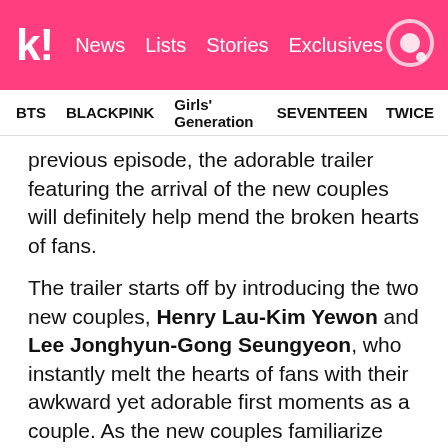k! News Lists Stories Exclusives
BTS  BLACKPINK  Girls' Generation  SEVENTEEN  TWICE
previous episode, the adorable trailer featuring the arrival of the new couples will definitely help mend the broken hearts of fans.
The trailer starts off by introducing the two new couples, Henry Lau-Kim Yewon and Lee Jonghyun-Gong Seungyeon, who instantly melt the hearts of fans with their awkward yet adorable first moments as a couple. As the new couples familiarize each other with their respective partner's personalities (and smells!), fans will not be able to stop themselves from smiling. In addition to spending time with their new significant others, the new members of We